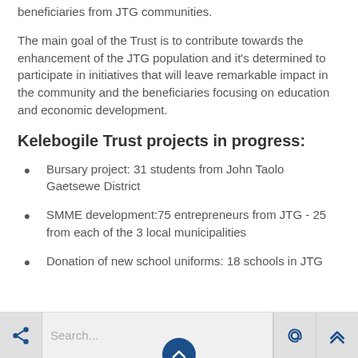beneficiaries from JTG communities.
The main goal of the Trust is to contribute towards the enhancement of the JTG population and it's determined to participate in initiatives that will leave remarkable impact in the community and the beneficiaries focusing on education and economic development.
Kelebogile Trust projects in progress:
Bursary project: 31 students from John Taolo Gaetsewe District
SMME development:75 entrepreneurs from JTG - 25 from each of the 3 local municipalities
Donation of new school uniforms: 18 schools in JTG